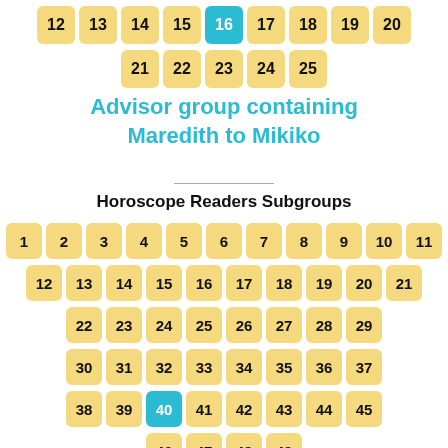[Figure (infographic): Top partial grid of numbered cells (12-25) with cell 16 highlighted in blue/teal]
Advisor group containing Maredith to Mikiko
Horoscope Readers Subgroups
[Figure (infographic): Full grid of numbered cells 1-49, with cell 40 highlighted in blue/teal]